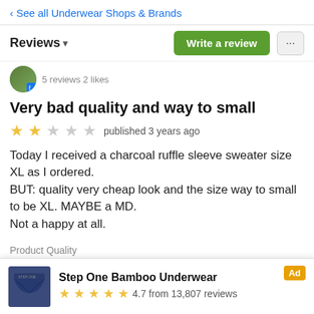< See all Underwear Shops & Brands
Reviews ▾
5 reviews 2 likes
Very bad quality and way to small
★★☆☆☆ published 3 years ago
Today I received a charcoal ruffle sleeve sweater size XL as I ordered.
BUT: quality very cheap look and the size way to small to be XL. MAYBE a MD.
Not a happy at all.
Product Quality
● ○ ○ ○ ○
Shipping
Step One Bamboo Underwear — Ad — 4.7 from 13,807 reviews